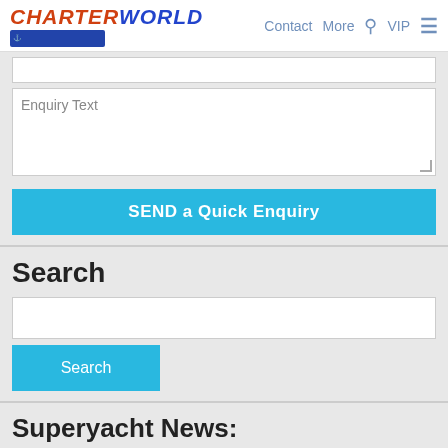CHARTERWORLD | Contact | More | VIP
Enquiry Text
SEND a Quick Enquiry
Search
Search
Superyacht News:
Email Your Yachting News to:
news @ charterworld.com